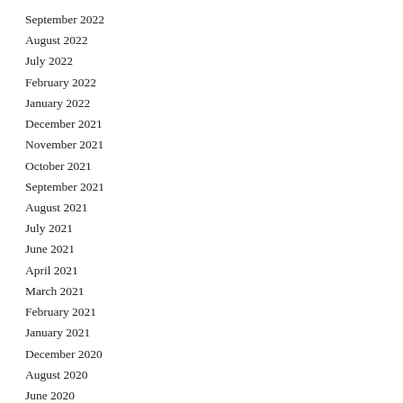September 2022
August 2022
July 2022
February 2022
January 2022
December 2021
November 2021
October 2021
September 2021
August 2021
July 2021
June 2021
April 2021
March 2021
February 2021
January 2021
December 2020
August 2020
June 2020
May 2020
April 2020
March 2020